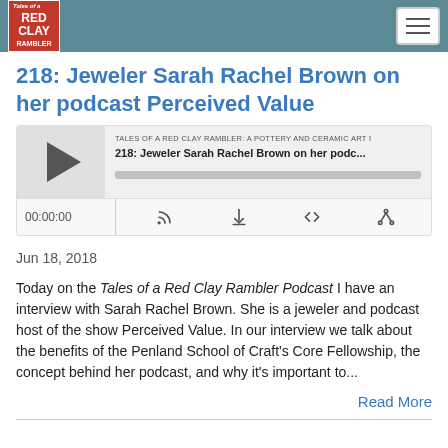Tales of a Red Clay Rambler
218: Jeweler Sarah Rachel Brown on her podcast Perceived Value
[Figure (other): Podcast audio player widget showing episode '218: Jeweler Sarah Rachel Brown on her podc...' from 'Tales of a Red Clay Rambler: A Pottery and Ceramic Art ...' with play button, progress bar, timestamp 00:00:00, and control icons for RSS feed, download, embed code, and share.]
Jun 18, 2018
Today on the Tales of a Red Clay Rambler Podcast I have an interview with Sarah Rachel Brown. She is a jeweler and podcast host of the show Perceived Value. In our interview we talk about the benefits of the Penland School of Craft's Core Fellowship, the concept behind her podcast, and why it's important to...
Read More